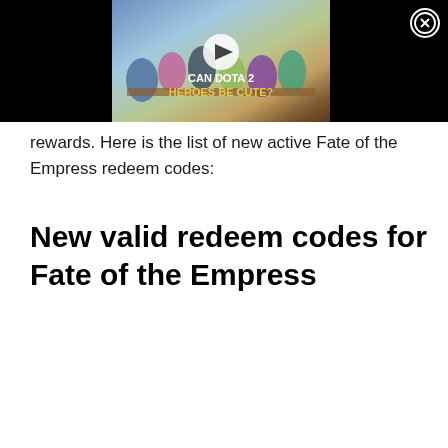[Figure (screenshot): A video thumbnail showing animated game characters (DOTA 2 heroes rendered as cute chibi characters) seated around a table. Text on thumbnail reads 'CAN DOTA 2 HEROES BE CUTE?' with a play button overlay. A close (X) button is in the top right of the black video block.]
rewards. Here is the list of new active Fate of the Empress redeem codes:
New valid redeem codes for Fate of the Empress